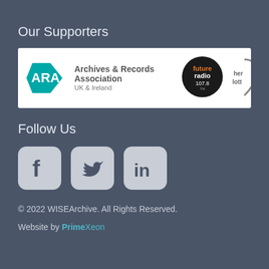Our Supporters
[Figure (logo): Supporter logos banner showing Archives & Records Association UK & Ireland logo, Future Radio 107.8 logo, and partially visible heritage lottery logo]
Follow Us
[Figure (infographic): Three social media icons: Facebook, Twitter, LinkedIn — rounded square grey buttons]
© 2022 WISEArchive. All Rights Reserved.
Website by PrimeXeon